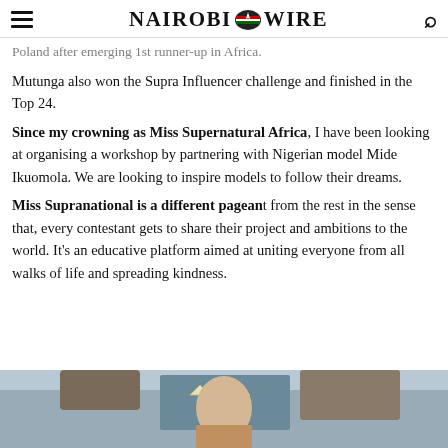Nairobi Wire
Poland after emerging 1st runner-up in Africa.
Mutunga also won the Supra Influencer challenge and finished in the Top 24.
Since my crowning as Miss Supernatural Africa, I have been looking at organising a workshop by partnering with Nigerian model Mide Ikuomola. We are looking to inspire models to follow their dreams.
Miss Supranational is a different pageant from the rest in the sense that, every contestant gets to share their project and ambitions to the world. It's an educative platform aimed at uniting everyone from all walks of life and spreading kindness.
[Figure (photo): Photo of a woman wearing a crown/tiara, bottom portion of the page showing a beauty pageant winner]